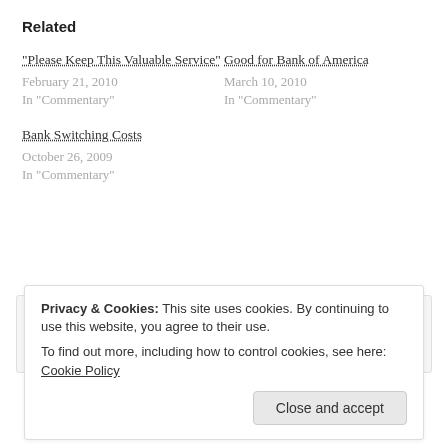Related
"Please Keep This Valuable Service"
February 21, 2010
In "Commentary"
Good for Bank of America
March 10, 2010
In "Commentary"
Bank Switching Costs
October 26, 2009
In "Commentary"
James Kwak   March 9, 2010
Banking / overdraft
Privacy & Cookies: This site uses cookies. By continuing to use this website, you agree to their use.
To find out more, including how to control cookies, see here: Cookie Policy
Close and accept